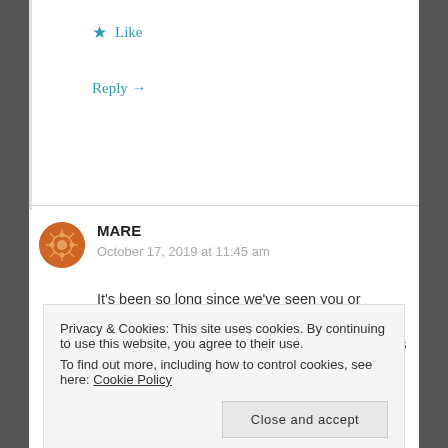★ Like
Reply →
MARE
October 17, 2019 at 11:45 am
It's been so long since we've seen you or Andrew! I remember having you on Thanksgiving one year and how much fun it was having you guys around. Andrew, your talent is incredible. As a gardener, everything you
Privacy & Cookies: This site uses cookies. By continuing to use this website, you agree to their use.
To find out more, including how to control cookies, see here: Cookie Policy
Close and accept
Nature herself, it is definitely you. Sending my love!